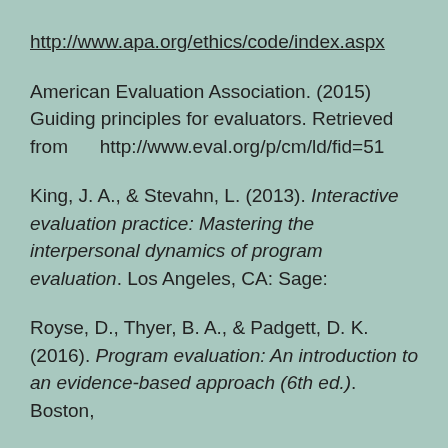http://www.apa.org/ethics/code/index.aspx
American Evaluation Association. (2015) Guiding principles for evaluators. Retrieved from http://www.eval.org/p/cm/ld/fid=51
King, J. A., & Stevahn, L. (2013). Interactive evaluation practice: Mastering the interpersonal dynamics of program evaluation. Los Angeles, CA: Sage:
Royse, D., Thyer, B. A., & Padgett, D. K. (2016). Program evaluation: An introduction to an evidence-based approach (6th ed.). Boston,